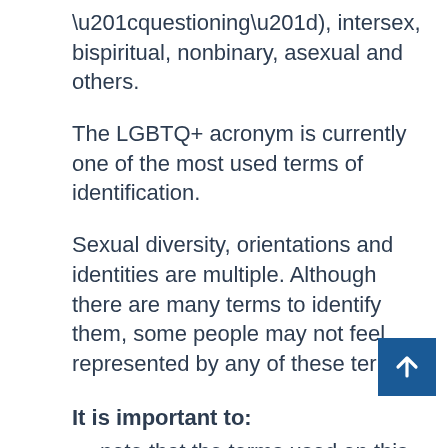“questioning”), intersex, bispiritual, nonbinary, asexual and others.
The LGBTQ+ acronym is currently one of the most used terms of identification.
Sexual diversity, orientations and identities are multiple. Although there are many terms to identify them, some people may not feel represented by any of these terms.
It is important to:
note that the terms used on this page are not exhaustive. The definitions can vary from one group or one reference to another. The vocabulary associated with the diversity linked to the sex assigned at birth, sexual orientation